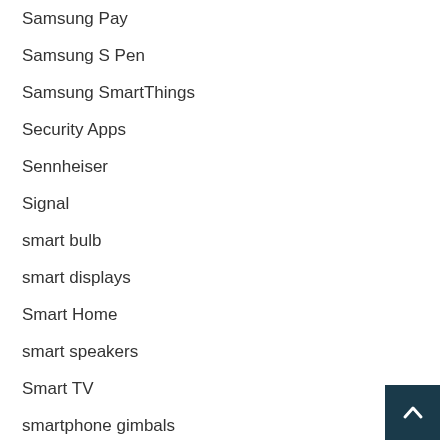Samsung Pay
Samsung S Pen
Samsung SmartThings
Security Apps
Sennheiser
Signal
smart bulb
smart displays
Smart Home
smart speakers
Smart TV
smartphone gimbals